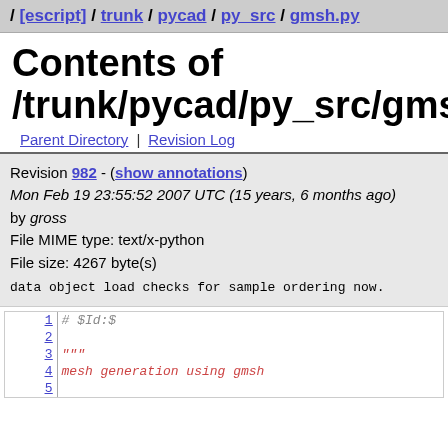/ [escript] / trunk / pycad / py_src / gmsh.py
Contents of /trunk/pycad/py_src/gmsh.py
Parent Directory | Revision Log
Revision 982 - (show annotations)
Mon Feb 19 23:55:52 2007 UTC (15 years, 6 months ago)
by gross
File MIME type: text/x-python
File size: 4267 byte(s)
data object load checks for sample  ordering now.
1  # $Id:$
2
3  """
4  mesh generation using gmsh
5